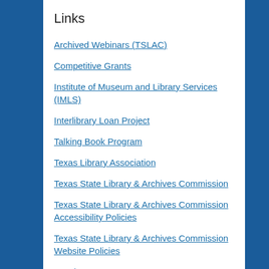Links
Archived Webinars (TSLAC)
Competitive Grants
Institute of Museum and Library Services (IMLS)
Interlibrary Loan Project
Talking Book Program
Texas Library Association
Texas State Library & Archives Commission
Texas State Library & Archives Commission Accessibility Policies
Texas State Library & Archives Commission Website Policies
TexShare
Archives